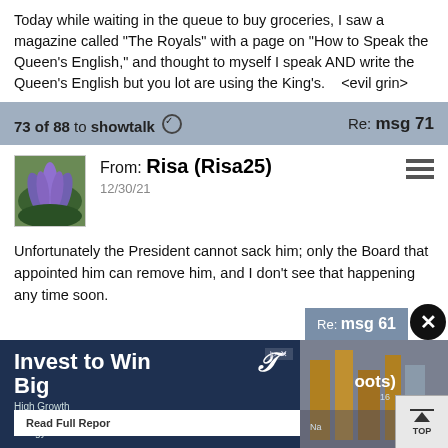Today while waiting in the queue to buy groceries, I saw a magazine called "The Royals" with a page on "How to Speak the Queen's English," and thought to myself I speak AND write the Queen's English but you lot are using the King's.    <evil grin>
73 of 88 to showtalk  Re: msg 71
From: Risa (Risa25)
12/30/21
Unfortunately the President cannot sack him; only the Board that appointed him can remove him, and I don't see that happening any time soon.
[Figure (screenshot): Advertisement banner: 'Invest to Win Big - High Growth Opportunity in Clean Energy' with Read Full Report button and industrial image]
Re: msg 61
oots)
TOP